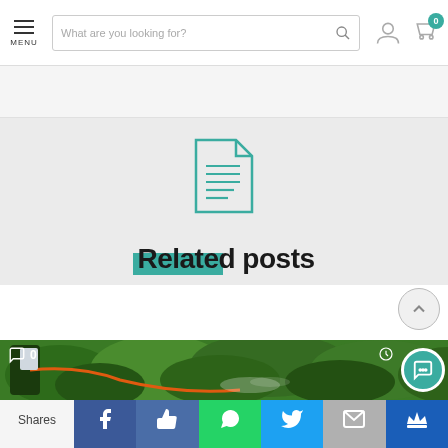MENU | What are you looking for? [search] [user] [cart 0]
[Figure (screenshot): Gray banner below navigation header]
[Figure (illustration): Teal document/article icon with horizontal lines]
Related posts
[Figure (photo): Person spraying pesticide on green garden/hedge plants]
Shares | Facebook | Like | WhatsApp | Twitter | Email | Crown